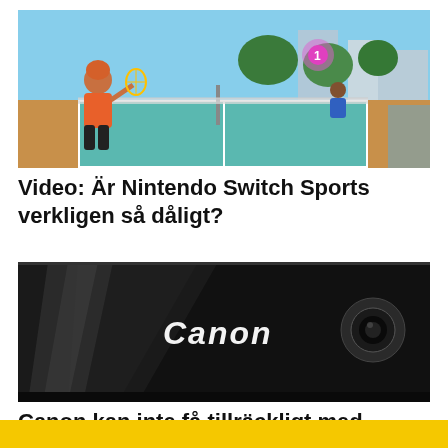[Figure (screenshot): Nintendo Switch Sports game screenshot showing animated characters playing tennis on an outdoor court with a net, bright colorful graphics]
Video: Är Nintendo Switch Sports verkligen så dåligt?
[Figure (photo): Close-up photo of a Canon printer/device showing the Canon logo in white on a dark black surface]
Canon kan inte få tillräckligt med tonerchips, så det talar om...
[Figure (other): Yellow/gold colored bar at bottom of page, partial view]